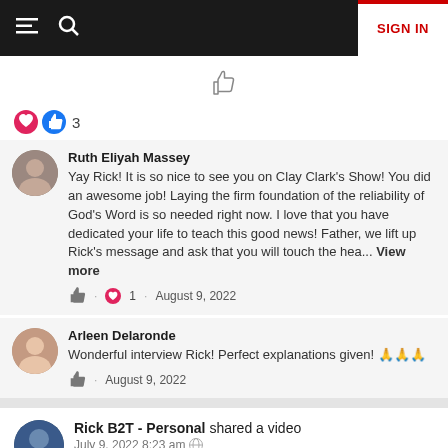SIGN IN
[Figure (screenshot): Thumbs up like icon in center]
3 (reactions: heart and thumbs up)
Ruth Eliyah Massey - Yay Rick! It is so nice to see you on Clay Clark's Show! You did an awesome job! Laying the firm foundation of the reliability of God's Word is so needed right now. I love that you have dedicated your life to teach this good news! Father, we lift up Rick's message and ask that you will touch the hea... View more - 1 - August 9, 2022
Arleen Delaronde - Wonderful interview Rick! Perfect explanations given! 🙏🙏🙏 - August 9, 2022
Rick B2T - Personal shared a video - July 9, 2022 8:23 am